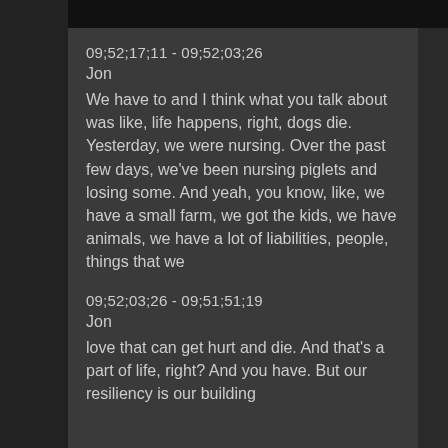09;52;17;11 - 09;52;03;26
Jon
We have to and I think what you talk about was like, life happens, right, dogs die. Yesterday, we were nursing. Over the past few days, we've been nursing piglets and losing some. And yeah, you know, like, we have a small farm, we got the kids, we have animals, we have a lot of liabilities, people, things that we
09;52;03;26 - 09;51;51;19
Jon
love that can get hurt and die. And that's a part of life, right? And you have. But our resiliency is our building